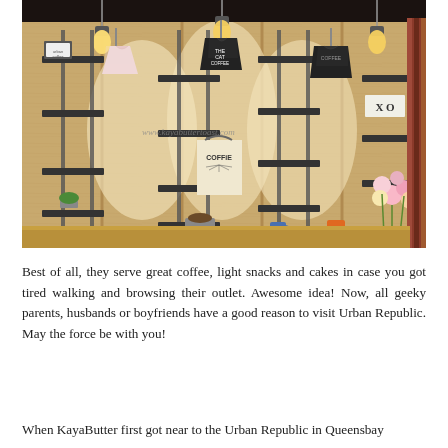[Figure (photo): Interior of Urban Republic store showing a wooden plank wall display with black metal shelves mounted on poles. Three t-shirts hang from the top — a light pink one on the left, a black one in the center with 'THE CAT COFFEE' text, and another black one on the right. Various items like framed pictures, a tote bag reading 'COFFEE', and other merchandise sit on the shelves. Edison-style pendant bulbs hang from the ceiling. Flowers are arranged on the right side. A watermark reads 'www.kayabuttertoast.com'.]
Best of all, they serve great coffee, light snacks and cakes in case you got tired walking and browsing their outlet. Awesome idea! Now, all geeky parents, husbands or boyfriends have a good reason to visit Urban Republic. May the force be with you!
When KayaButter first got near to the Urban Republic in Queensbay